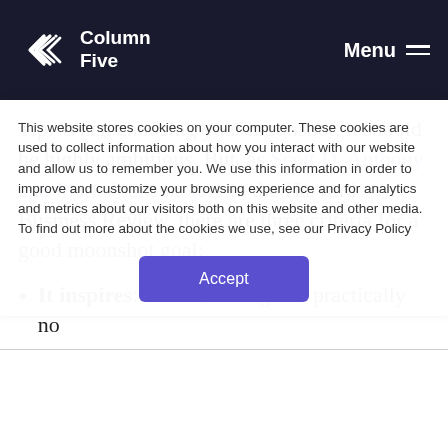Column Five | Menu
Tip: When choosing your moonshot, it should be highly ambitious. But, as Scott D. Anthony and Mark Johnson note in the Harvard Business Review, there are three criteria for a good moonshot goal:
It inspires: For us, having had practically no
This website stores cookies on your computer. These cookies are used to collect information about how you interact with our website and allow us to remember you. We use this information in order to improve and customize your browsing experience and for analytics and metrics about our visitors both on this website and other media. To find out more about the cookies we use, see our Privacy Policy
Accept